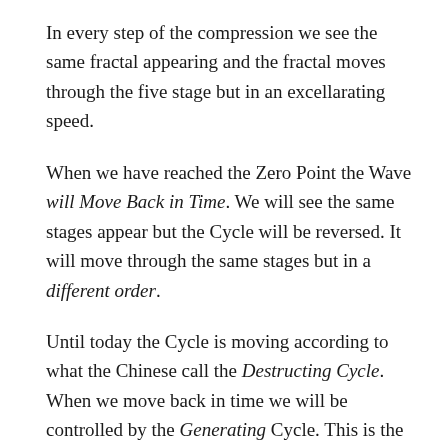In every step of the compression we see the same fractal appearing and the fractal moves through the five stage but in an excellarating speed.
When we have reached the Zero Point the Wave will Move Back in Time. We will see the same stages appear but the Cycle will be reversed. It will move through the same stages but in a different order.
Until today the Cycle is moving according to what the Chinese call the Destructing Cycle. When we move back in time we will be controlled by the Generating Cycle. This is the Cycle of Creation.
2012 will be the big turning point in many cycles. It